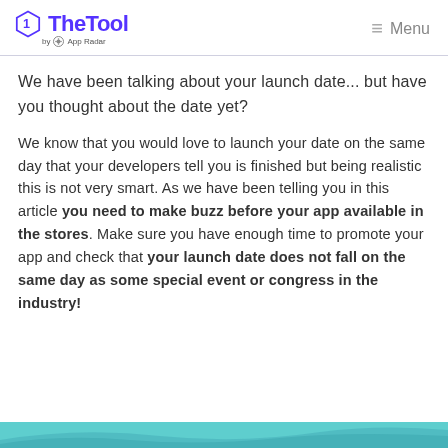TheTool by App Radar — Menu
We have been talking about your launch date... but have you thought about the date yet?
We know that you would love to launch your date on the same day that your developers tell you is finished but being realistic this is not very smart. As we have been telling you in this article you need to make buzz before your app available in the stores. Make sure you have enough time to promote your app and check that your launch date does not fall on the same day as some special event or congress in the industry!
[Figure (photo): Teal/turquoise banner image at bottom of page, partially visible]